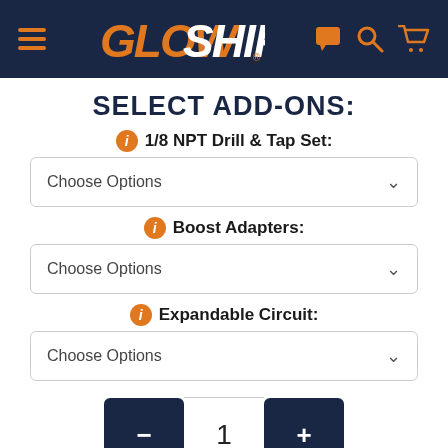[Figure (screenshot): GlowShift website navigation bar with hamburger menu, GlowShift logo, chat icon, search icon, and cart icon on dark navy background]
SELECT ADD-ONS:
1/8 NPT Drill & Tap Set:
Choose Options
Boost Adapters:
Choose Options
Expandable Circuit:
Choose Options
1
ADD TO CART